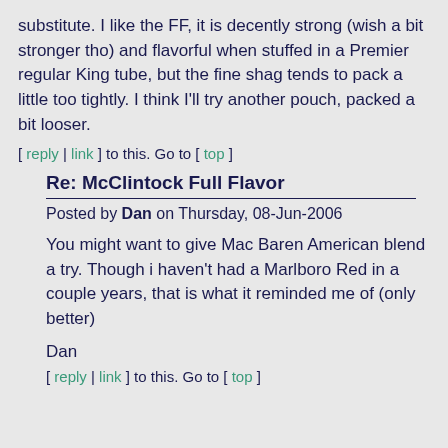substitute. I like the FF, it is decently strong (wish a bit stronger tho) and flavorful when stuffed in a Premier regular King tube, but the fine shag tends to pack a little too tightly. I think I'll try another pouch, packed a bit looser.
[ reply | link ] to this. Go to [ top ]
Re: McClintock Full Flavor
Posted by Dan on Thursday, 08-Jun-2006
You might want to give Mac Baren American blend a try. Though i haven't had a Marlboro Red in a couple years, that is what it reminded me of (only better)
Dan
[ reply | link ] to this. Go to [ top ]